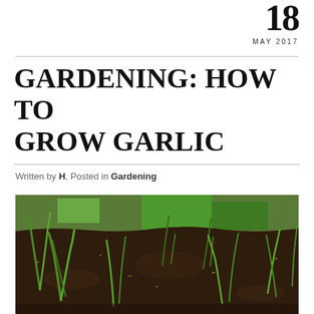18
MAY 2017
GARDENING: HOW TO GROW GARLIC
Written by H, Posted in Gardening
[Figure (photo): Young garlic shoots sprouting from dark soil in a garden bed, with green grass and leaves visible in the background.]